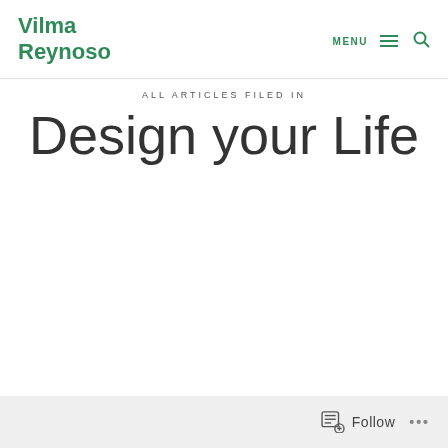Vilma Reynoso
ALL ARTICLES FILED IN
Design your Life
Follow ...